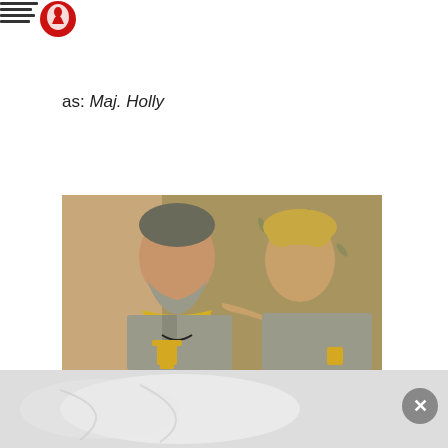[Figure (logo): Small logo/poster image in top-left corner with red and white design and small text]
as: Maj. Holly
[Figure (photo): Color photograph of two men in khaki/military shirts. The man on the left is older with gray beard and yellow neckerchief, holding a gold chalice. The man on the right is younger with curly blond hair, resting his hand on the other man's shoulder. Background shows cave paintings or murals.]
[Figure (photo): Partial view of bottom overlay image showing light-colored fabric or clothing, partially obscured. A circular close (X) button appears on the right side.]